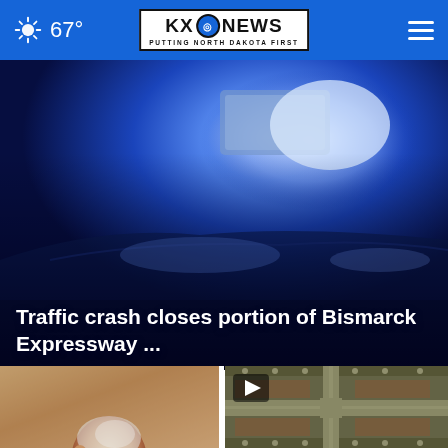67° KXO NEWS — PUTTING NORTH DAKOTA FIRST
[Figure (photo): Blue police/emergency vehicle light bar with bright blue flashing lights, close-up view with bokeh effect]
Traffic crash closes portion of Bismarck Expressway ...
[Figure (photo): Close-up photo of an elderly person's head from behind]
[Figure (photo): Aerial map view of an intersection with a video play button overlay]